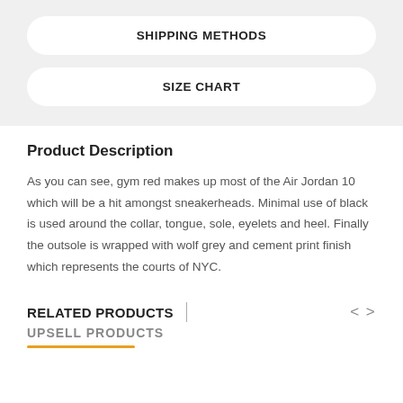SHIPPING METHODS
SIZE CHART
Product Description
As you can see, gym red makes up most of the Air Jordan 10 which will be a hit amongst sneakerheads. Minimal use of black is used around the collar, tongue, sole, eyelets and heel. Finally the outsole is wrapped with wolf grey and cement print finish which represents the courts of NYC.
RELATED PRODUCTS
UPSELL PRODUCTS